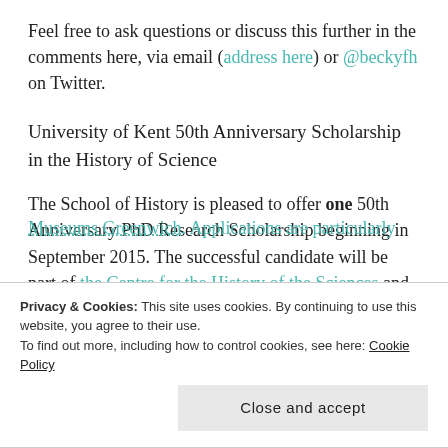Feel free to ask questions or discuss this further in the comments here, via email (address here) or @beckyfh on Twitter.
University of Kent 50th Anniversary Scholarship in the History of Science
The School of History is pleased to offer one 50th Anniversary PhD Research Scholarship beginning in September 2015. The successful candidate will be part of the Centre for the History of the Sciences and supervised by Dr Rebekah Higgitt. The proposed research must suit Dr Higgitt's broad interests and, if
Museums Greenwich. Applications are particularly
Privacy & Cookies: This site uses cookies. By continuing to use this website, you agree to their use.
To find out more, including how to control cookies, see here: Cookie Policy
Close and accept